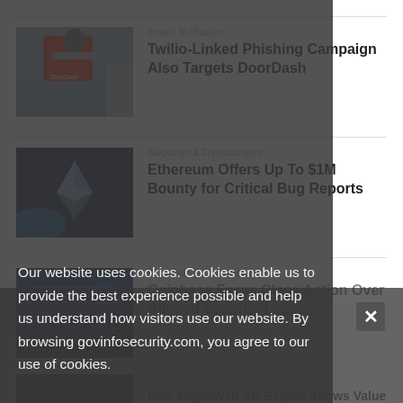[Figure (photo): DoorDash delivery person with red insulated bag on back]
Breach Notification
Twilio-Linked Phishing Campaign Also Targets DoorDash
[Figure (photo): Ethereum logo on dark blue background]
Blockchain & Cryptocurrency
Ethereum Offers Up To $1M Bounty for Critical Bug Reports
[Figure (photo): Coinbase website screenshot on laptop]
Blockchain & Cryptocurrency
Coinbase Faces Class Action Over Alleged Security Lapses
[Figure (photo): Microsoft logo signage]
Cyberwarfare / Nation-State Attacks
New MagicWeb AD Exploit Shows Value of Cloud, Zero Trust
Our website uses cookies. Cookies enable us to provide the best experience possible and help us understand how visitors use our website. By browsing govinfosecurity.com, you agree to our use of cookies.